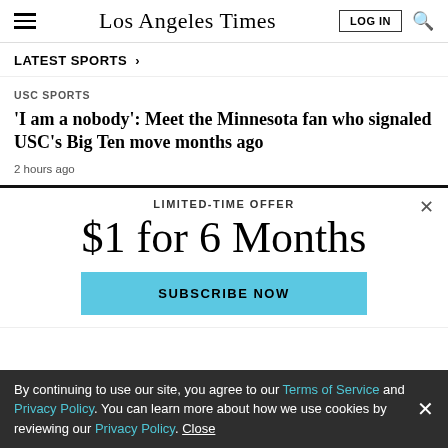Los Angeles Times — LOG IN
LATEST SPORTS
USC SPORTS
'I am a nobody': Meet the Minnesota fan who signaled USC's Big Ten move months ago
2 hours ago
LIMITED-TIME OFFER
$1 for 6 Months
SUBSCRIBE NOW
By continuing to use our site, you agree to our Terms of Service and Privacy Policy. You can learn more about how we use cookies by reviewing our Privacy Policy. Close